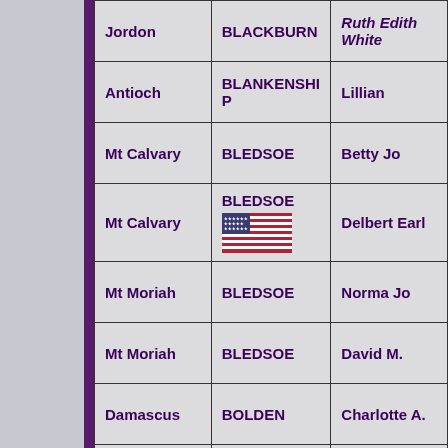| Church/Location | Last Name | First Name |
| --- | --- | --- |
| Jordon | BLACKBURN | Ruth Edith White |
| Antioch | BLANKENSHIP | Lillian |
| Mt Calvary | BLEDSOE | Betty Jo |
| Mt Calvary | BLEDSOE [flag] | Delbert Earl |
| Mt Moriah | BLEDSOE | Norma Jo |
| Mt Moriah | BLEDSOE | David M. |
| Damascus | BOLDEN | Charlotte A. |
| Damascus | BOLDEN | Lee |
| Jordon | BOLES | Arthur D. |